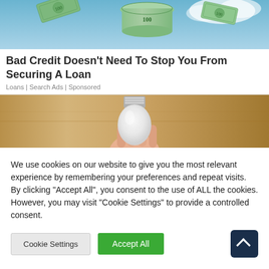[Figure (photo): Money/dollar bills flying in a blue sky background - advertisement banner image]
Bad Credit Doesn't Need To Stop You From Securing A Loan
Loans | Search Ads | Sponsored
[Figure (photo): A hand holding a white LED light bulb against a wooden background]
We use cookies on our website to give you the most relevant experience by remembering your preferences and repeat visits. By clicking "Accept All", you consent to the use of ALL the cookies. However, you may visit "Cookie Settings" to provide a controlled consent.
Cookie Settings | Accept All